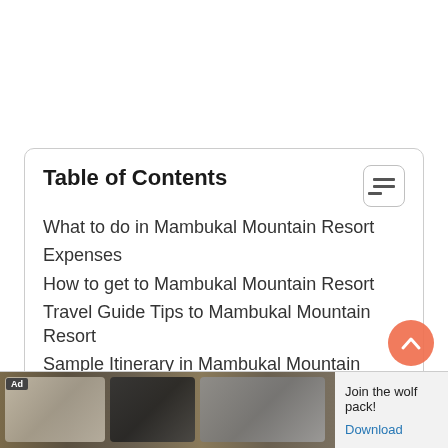Table of Contents
What to do in Mambukal Mountain Resort
Expenses
How to get to Mambukal Mountain Resort
Travel Guide Tips to Mambukal Mountain Resort
Sample Itinerary in Mambukal Mountain Resort
[Figure (other): Advertisement banner showing wolves with text 'Join the wolf pack!' and a Download button]